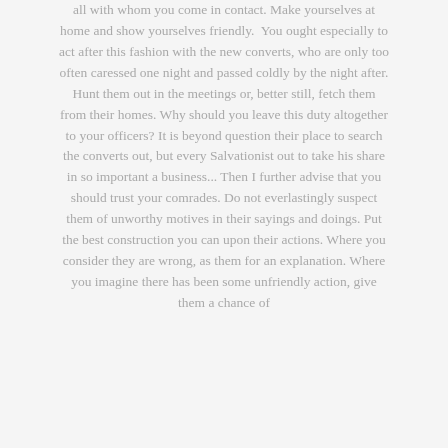all with whom you come in contact. Make yourselves at home and show yourselves friendly. You ought especially to act after this fashion with the new converts, who are only too often caressed one night and passed coldly by the night after. Hunt them out in the meetings or, better still, fetch them from their homes. Why should you leave this duty altogether to your officers? It is beyond question their place to search the converts out, but every Salvationist out to take his share in so important a business... Then I further advise that you should trust your comrades. Do not everlastingly suspect them of unworthy motives in their sayings and doings. Put the best construction you can upon their actions. Where you consider they are wrong, as them for an explanation. Where you imagine there has been some unfriendly action, give them a chance of